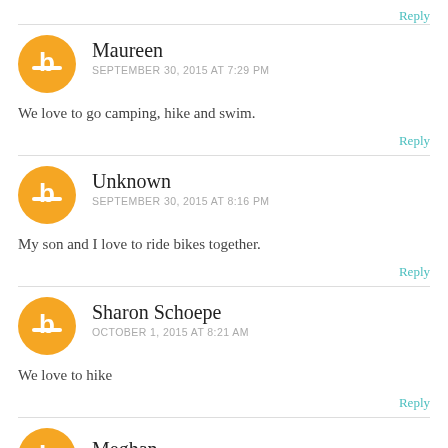Reply
Maureen
SEPTEMBER 30, 2015 AT 7:29 PM
We love to go camping, hike and swim.
Reply
Unknown
SEPTEMBER 30, 2015 AT 8:16 PM
My son and I love to ride bikes together.
Reply
Sharon Schoepe
OCTOBER 1, 2015 AT 8:21 AM
We love to hike
Reply
Meghan